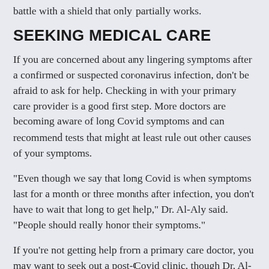battle with a shield that only partially works.
SEEKING MEDICAL CARE
If you are concerned about any lingering symptoms after a confirmed or suspected coronavirus infection, don’t be afraid to ask for help. Checking in with your primary care provider is a good first step. More doctors are becoming aware of long Covid symptoms and can recommend tests that might at least rule out other causes of your symptoms.
“Even though we say that long Covid is when symptoms last for a month or three months after infection, you don’t have to wait that long to get help,” Dr. Al-Aly said. “People should really honor their symptoms.”
If you’re not getting help from a primary care doctor, you may want to seek out a post-Covid clinic, though Dr. Al-Aly acknowledged that “it’s easier said than done.” Access to post-Covid clinics can be difficult for those without